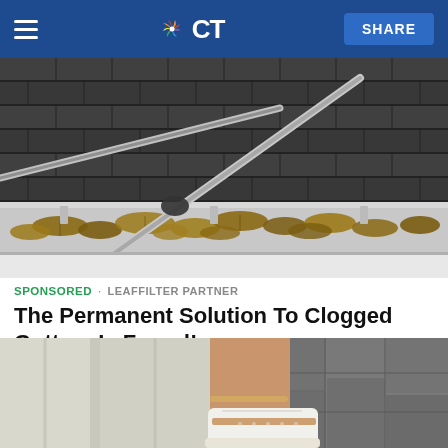NBC CT — SHARE
[Figure (photo): Close-up photo of a home rain gutter filled with dead leaves and debris, with a gutter cleaning tool (long metal rod) resting across it. Roof shingles visible in background.]
SPONSORED · LEAFFILTER PARTNER
The Permanent Solution To Clogged Gutters Is Found!
[Figure (photo): Photo of a person's lower body wearing white jeans and white/tan sneakers with a decorative ankle bracelet, standing on a patterned stone or concrete surface.]